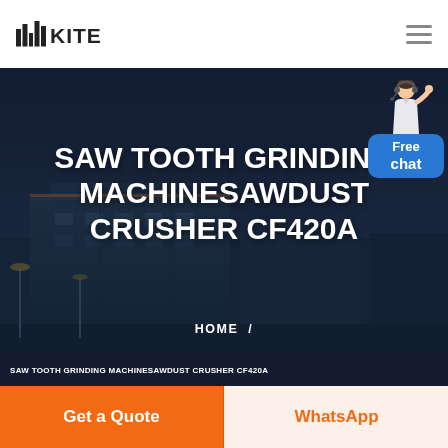KITE
[Figure (screenshot): Industrial factory building background image used as hero banner background]
SAW TOOTH GRINDING MACHINESAWDUST CRUSHER CF420A
HOME  /
SAW TOOTH GRINDING MACHINESAWDUST CRUSHER CF420A
Get a Quote
WhatsApp